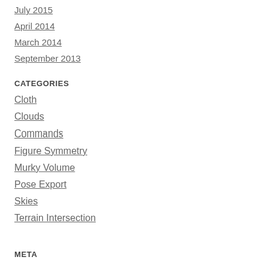July 2015
April 2014
March 2014
September 2013
CATEGORIES
Cloth
Clouds
Commands
Figure Symmetry
Murky Volume
Pose Export
Skies
Terrain Intersection
META